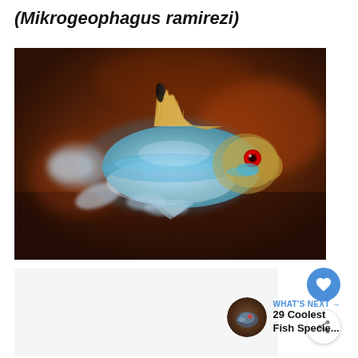(Mikrogeophagus ramirezi)
[Figure (photo): A Mikrogeophagus ramirezi (German Blue Ram cichlid) fish photographed against a dark brown blurred background. The fish displays iridescent blue and silver scales, a prominent red eye, and elongated dorsal fin spines. The fish faces right with visible pectoral and caudal fins.]
WHAT'S NEXT → 29 Coolest Fish Specie...